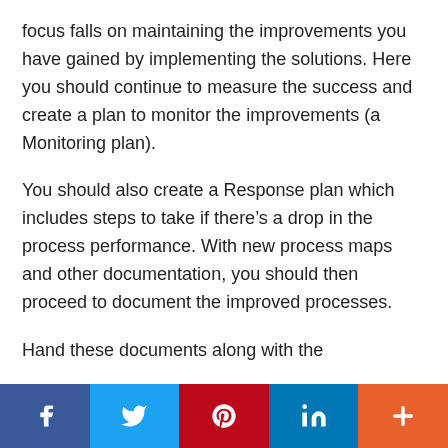focus falls on maintaining the improvements you have gained by implementing the solutions. Here you should continue to measure the success and create a plan to monitor the improvements (a Monitoring plan).
You should also create a Response plan which includes steps to take if there’s a drop in the process performance. With new process maps and other documentation, you should then proceed to document the improved processes.
Hand these documents along with the
f  [twitter]  [pinterest]  in  +